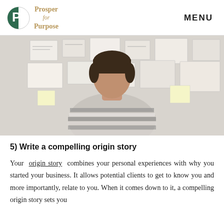Prosper for Purpose | MENU
[Figure (photo): Back view of a person in a striped sweater looking at a wall covered with papers, notes, and drawings in a planning/brainstorming setting.]
5) Write a compelling origin story
Your origin story combines your personal experiences with why you started your business. It allows potential clients to get to know you and more importantly, relate to you. When it comes down to it, a compelling origin story sets you